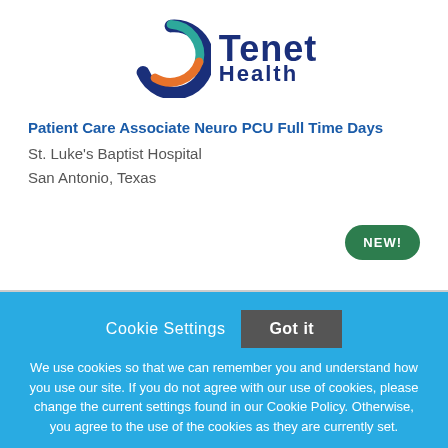[Figure (logo): Tenet Health logo with circular swoosh graphic in blue, teal, and orange, and the text 'Tenet Health' in dark navy blue]
Patient Care Associate Neuro PCU Full Time Days
St. Luke's Baptist Hospital
San Antonio, Texas
NEW!
Cookie Settings  Got it
We use cookies so that we can remember you and understand how you use our site. If you do not agree with our use of cookies, please change the current settings found in our Cookie Policy. Otherwise, you agree to the use of the cookies as they are currently set.